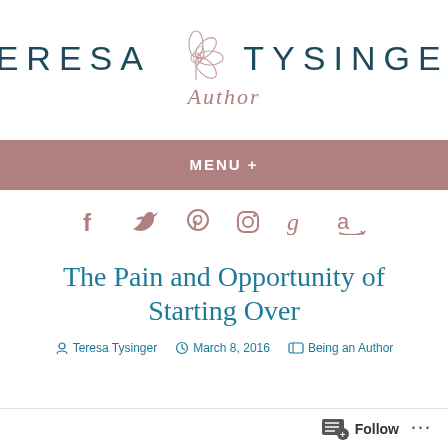[Figure (logo): Teresa Tysinger Author logo with floral illustration between the two words and cursive 'Author' text below]
MENU +
[Figure (infographic): Social media icons row: Facebook, Twitter, Pinterest, Instagram, Goodreads, Amazon]
The Pain and Opportunity of Starting Over
Teresa Tysinger   March 8, 2016   Being an Author
[Figure (infographic): Follow button with icon and three dots menu at page bottom right]